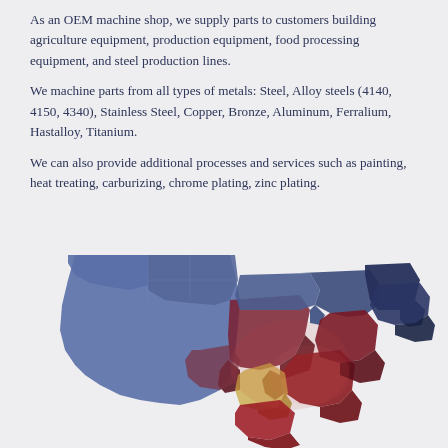As an OEM machine shop, we supply parts to customers building agriculture equipment, production equipment, food processing equipment, and steel production lines.
We machine parts from all types of metals: Steel, Alloy steels (4140, 4150, 4340), Stainless Steel, Copper, Bronze, Aluminum, Ferralium, Hastalloy, Titanium.
We can also provide additional processes and services such as painting, heat treating, carburizing, chrome plating, zinc plating.
[Figure (map): 3D stylized map of the United States showing states with raised blocks, colored in shades of blue in the west and dark red/crimson in the midwest and eastern regions, with a yellowish highlight in the south-central area, suggesting a heat map or customer distribution map.]